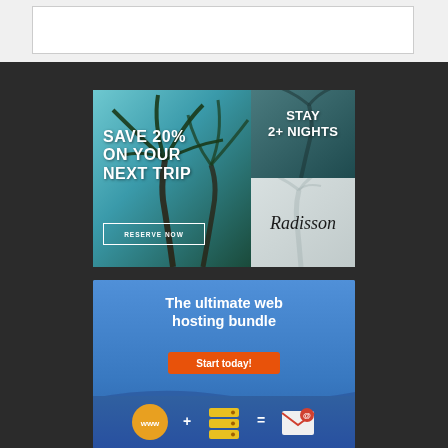[Figure (screenshot): Top gray browser navigation bar with white address bar]
[Figure (infographic): Radisson hotel advertisement: 'SAVE 20% ON YOUR NEXT TRIP' with palm trees background, 'STAY 2+ NIGHTS' text, Radisson logo, and 'RESERVE NOW' button]
[Figure (infographic): Web hosting bundle advertisement on blue background: 'The ultimate web hosting bundle' with 'Start today!' orange button and icons showing www domain + server stack = email envelope]